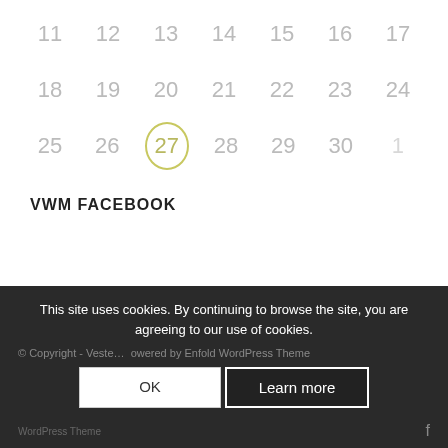| 11 | 12 | 13 | 14 | 15 | 16 | 17 |
| 18 | 19 | 20 | 21 | 22 | 23 | 24 |
| 25 | 26 | 27 | 28 | 29 | 30 | 1 |
VWM FACEBOOK
This site uses cookies. By continuing to browse the site, you are agreeing to our use of cookies.
OK
Learn more
© Copyright - Veste... powered by Enfold WordPress Theme